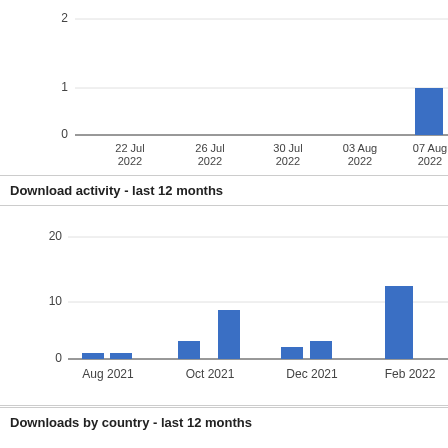[Figure (bar-chart): Download activity - last few weeks (partial)]
Download activity - last 12 months
[Figure (bar-chart): Download activity - last 12 months]
Downloads by country - last 12 months